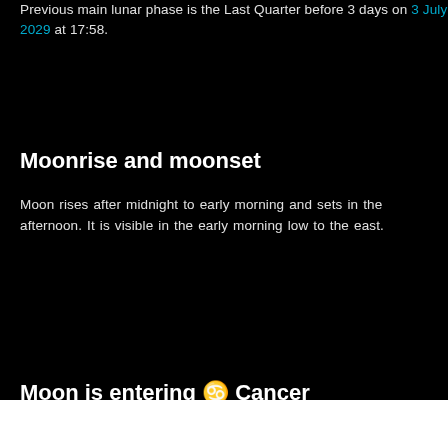Previous main lunar phase is the Last Quarter before 3 days on 3 July 2029 at 17:58.
Moonrise and moonset
Moon rises after midnight to early morning and sets in the afternoon. It is visible in the early morning low to the east.
Moon is entering ♋ Cancer